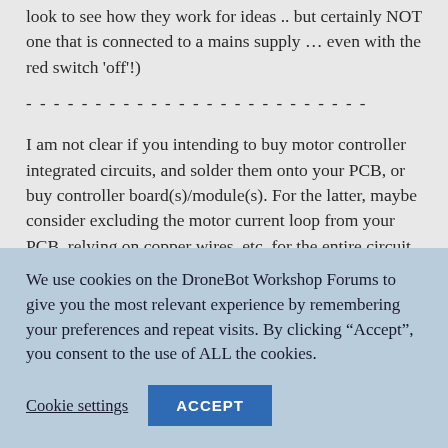look to see how they work for ideas .. but certainly NOT one that is connected to a mains supply ... even with the red switch 'off'!)
- - - - - - - - - - - - - - - - - - - - - - - - -
I am not clear if you intending to buy motor controller integrated circuits, and solder them onto your PCB, or buy controller board(s)/module(s). For the latter, maybe consider excluding the motor current loop from your PCB, relying on copper wires, etc. for the entire circuit from the battery, through main switch, controller and motor, and back to the battery.
We use cookies on the DroneBot Workshop Forums to give you the most relevant experience by remembering your preferences and repeat visits. By clicking "Accept", you consent to the use of ALL the cookies.